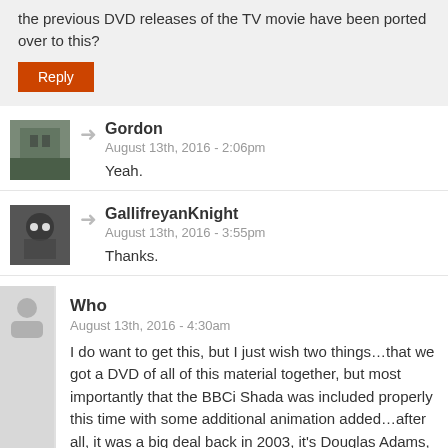the previous DVD releases of the TV movie have been ported over to this?
Reply
Gordon
August 13th, 2016 - 2:06pm
Yeah.
GallifreyanKnight
August 13th, 2016 - 3:55pm
Thanks.
Who
August 13th, 2016 - 4:30am
I do want to get this, but I just wish two things...that we got a DVD of all of this material together, but most importantly that the BBCi Shada was included properly this time with some additional animation added...after all, it was a big deal back in 2003, it's Douglas Adams, features a very impressive cast list and provides at least one further, official, onscreen appearance for the Eighth